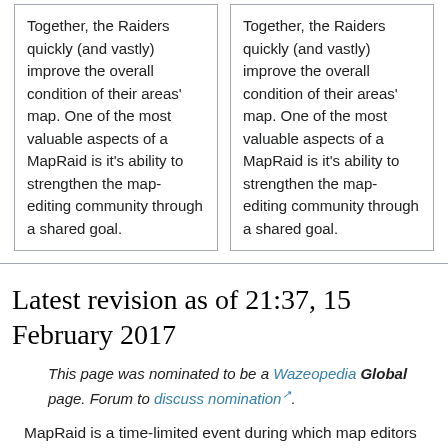Together, the Raiders quickly (and vastly) improve the overall condition of their areas' map. One of the most valuable aspects of a MapRaid is it's ability to strengthen the map-editing community through a shared goal.
Together, the Raiders quickly (and vastly) improve the overall condition of their areas' map. One of the most valuable aspects of a MapRaid is it's ability to strengthen the map-editing community through a shared goal.
Latest revision as of 21:37, 15 February 2017
This page was nominated to be a Wazeopedia Global page. Forum to discuss nomination.
MapRaid is a time-limited event during which map editors join together to resolve MR's, UR's, add & update